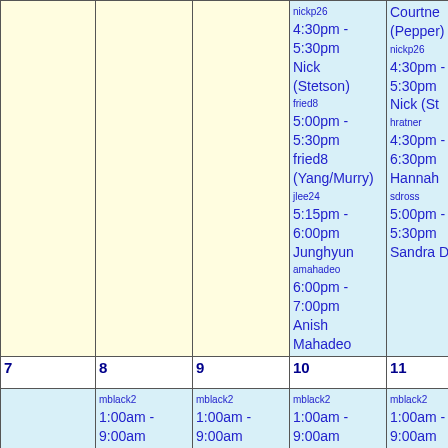| (blank) | (blank) | (blank) | (col 3) | (col 4) |
| --- | --- | --- | --- | --- |
|  |  |  | nickp26
4:30pm - 5:30pm Nick (Stetson)
fried8
5:00pm - 5:30pm fried8 (Yang/Murry)
jlee24
5:15pm - 6:00pm Junghyun
amahadeo
6:00pm - 7:00pm Anish Mahadeo | Courtney (Pepper)
nickp26
4:30pm - 5:30pm
Nick (St...
hratner
4:30pm - 6:30pm
Hannah
sdross
5:00pm - 5:30pm
Sandra D... |
| 7 | 8 | 9 | 10 | 11 |
|  | mblack2
1:00am - 9:00am
Daily QC | mblack2
1:00am - 9:00am
Daily QC
ASSISTED | mblack2
1:00am - 9:00am
Daily QC | mblack2
1:00am -
9:00am
Daily Q... |